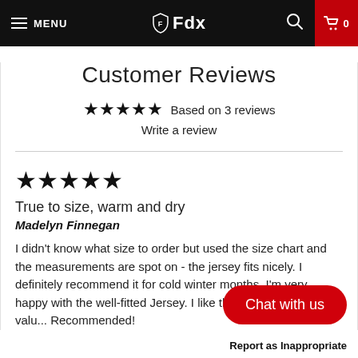MENU | ⓕFdx | 🔍 | 🛒 0
Customer Reviews
★★★★★ Based on 3 reviews
Write a review
★★★★★
True to size, warm and dry
Madelyn Finnegan
I didn't know what size to order but used the size chart and the measurements are spot on - the jersey fits nicely. I definitely recommend it for cold winter months. I'm very happy with the well-fitted Jersey. I like their quality and good valu... Recommended!
Chat with us
Report as Inappropriate